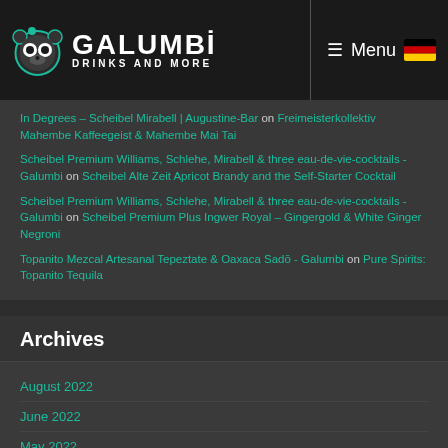GALUMBI DRINKS AND MORE — Menu
In Degrees – Scheibel Mirabell | Augustine-Bar on Freimeisterkollektiv Mahembe Kaffeegeist & Mahembe Mai Tai
Scheibel Premium Williams, Schlehe, Mirabell & three eau-de-vie-cocktails - Galumbi on Scheibel Alte Zeit Apricot Brandy and the Self-Starter Cocktail
Scheibel Premium Williams, Schlehe, Mirabell & three eau-de-vie-cocktails - Galumbi on Scheibel Premium Plus Ingwer Royal – Gingergold & White Ginger Negroni
Topanito Mezcal Artesanal Tepeztate & Oaxaca Sadō - Galumbi on Pure Spirits: Topanito Tequila
Archives
August 2022
June 2022
May 2022
April 2022